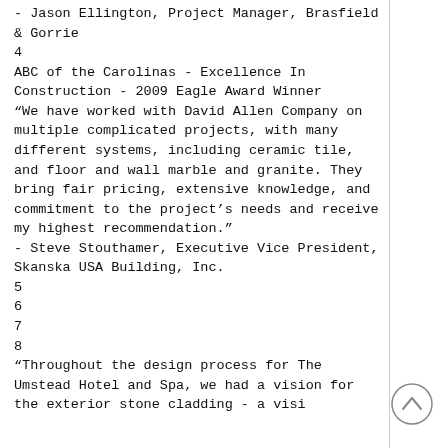- Jason Ellington, Project Manager, Brasfield & Gorrie
4
ABC of the Carolinas - Excellence In Construction - 2009 Eagle Award Winner
“We have worked with David Allen Company on multiple complicated projects, with many different systems, including ceramic tile, and floor and wall marble and granite. They bring fair pricing, extensive knowledge, and commitment to the project’s needs and receive my highest recommendation.”
- Steve Stouthamer, Executive Vice President,
Skanska USA Building, Inc.
5
6
7
8
“Throughout the design process for The Umstead Hotel and Spa, we had a vision for the exterior stone cladding - a visi